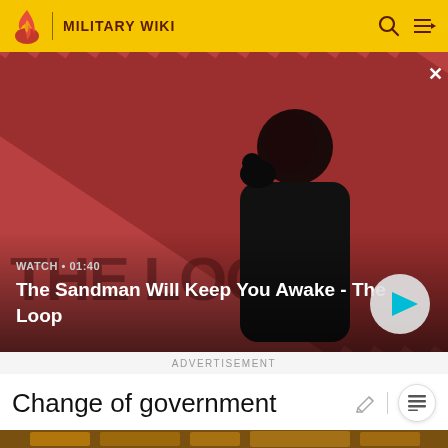MILITARY WIKI
[Figure (screenshot): Video banner showing a dark-cloaked figure with a raven on shoulder against a red diagonal striped background. Text overlay reads WATCH 01:40 and title The Sandman Will Keep You Awake - The Loop with a play button.]
WATCH • 01:40
The Sandman Will Keep You Awake - The Loop
ADVERTISEMENT
Change of government
[Figure (photo): Partial bottom image showing a golden/bronze colored decorative object or architectural element in warm lighting.]